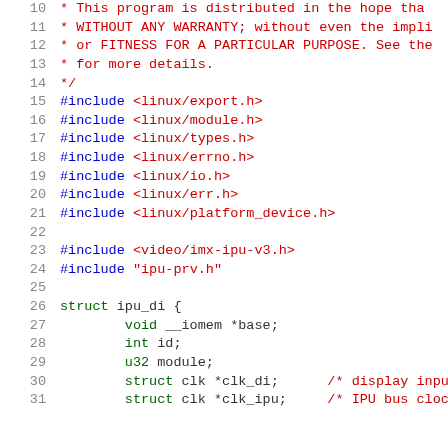10  * This program is distributed in the hope that
11  * WITHOUT ANY WARRANTY; without even the impli
12  * or FITNESS FOR A PARTICULAR PURPOSE.  See the
13  * for more details.
14  */
15  #include <linux/export.h>
16  #include <linux/module.h>
17  #include <linux/types.h>
18  #include <linux/errno.h>
19  #include <linux/io.h>
20  #include <linux/err.h>
21  #include <linux/platform_device.h>
22
23  #include <video/imx-ipu-v3.h>
24  #include "ipu-prv.h"
25
26  struct ipu_di {
27      void __iomem *base;
28      int id;
29      u32 module;
30      struct clk *clk_di;    /* display input
31      struct clk *clk_ipu;   /* IPU bus cloc